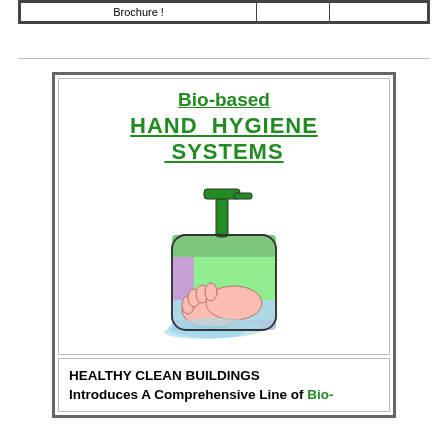|  |  |  |
| --- | --- | --- |
| Brochure ! |  |  |
[Figure (illustration): Hand washing soap dispenser illustration with hands being washed under water]
Bio-based
HAND HYGIENE SYSTEMS
HEALTHY CLEAN BUILDINGS
Introduces A Comprehensive Line of Bio-